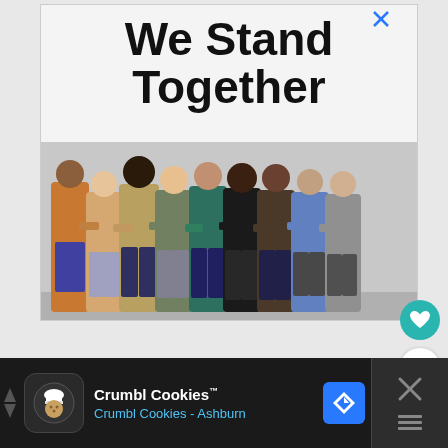[Figure (illustration): Advertisement image showing bold text 'We Stand Together' at the top in large black font, with a photo below of a diverse group of people standing with arms around each other, seen from behind, against a light gray background. Top-right corner has an X close button.]
[Figure (infographic): Teal circular heart/favorite button on the right side]
[Figure (infographic): White circular share button with share icon on the right side]
WHAT'S NEXT → 50 Easy Scrap Wood...
[Figure (screenshot): Bottom advertisement bar with dark background showing Crumbl Cookies™ logo (white cookie icon on dark background), text 'Crumbl Cookies™' in white and 'Crumbl Cookies - Ashburn' in blue, a blue navigation/directions diamond icon, and an X close button on the right.]